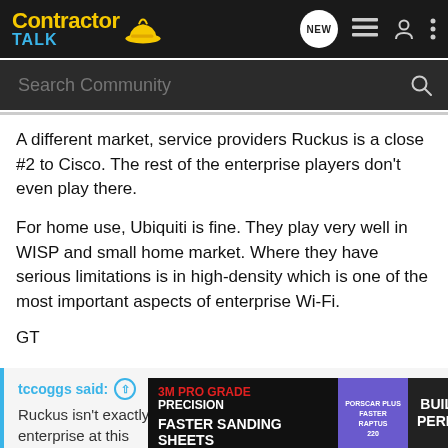Contractor Talk — NEW, list, user, menu icons; Search Community
A different market, service providers Ruckus is a close #2 to Cisco. The rest of the enterprise players don't even play there.
For home use, Ubiquiti is fine. They play very well in WISP and small home market. Where they have serious limitations is in high-density which is one of the most important aspects of enterprise Wi-Fi.
GT
tccoggs said: ↑
Ruckus isn't exactly competitive either, maybe outdoor, but enterprise at this ... is still out the ... e to
[Figure (screenshot): 3M Pro Grade Precision advertisement banner: FASTER SANDING SHEETS — BUILT TO PERFORM]